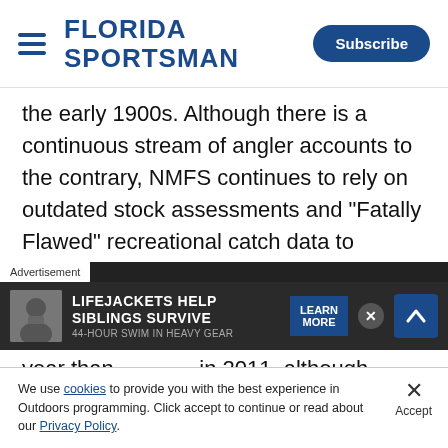Florida Sportsman — Subscribe
the early 1900s. Although there is a continuous stream of angler accounts to the contrary, NMFS continues to rely on outdated stock assessments and “Fatally Flawed” recreational catch data to continually reduce the recreational angler’s opportunity to fish. In the 2012 season we are face with an even shorter year than in 2011, although we h...
[Figure (screenshot): Advertisement overlay: 'Advertisement' label, ad with image of bearded man, text 'LIFEJACKETS HELP SIBLINGS SURVIVE', LEARN MORE button, close X button, and up arrow button]
We use cookies to provide you with the best experience in Outdoors programming. Click accept to continue or read about our Privacy Policy.